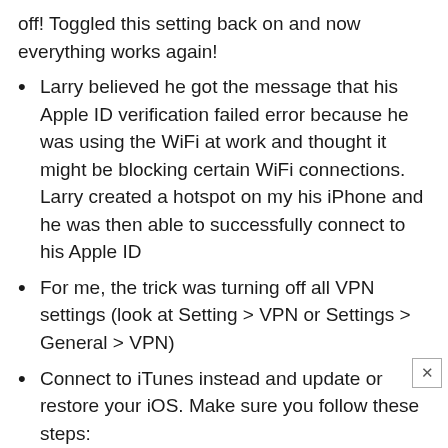off! Toggled this setting back on and now everything works again!
Larry believed he got the message that his Apple ID verification failed error because he was using the WiFi at work and thought it might be blocking certain WiFi connections. Larry created a hotspot on my his iPhone and he was then able to successfully connect to his Apple ID
For me, the trick was turning off all VPN settings (look at Setting > VPN or Settings > General > VPN)
Connect to iTunes instead and update or restore your iOS. Make sure you follow these steps:
Power off iDevice
Open iTunes on your computer
Hold down the Bome button while connecting the lightning cable to your PC
To this screen then check on iTunes for…